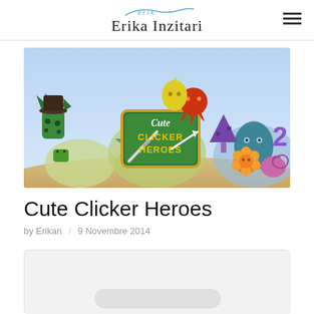Erika Inzitari
[Figure (illustration): Cute Clicker Heroes game promotional banner showing colorful cartoon monster characters (green spiky creatures, blue star, red octopus, purple mushroom, orange flower, pink snail, teal creature) arranged around a green wooden sign reading 'Cute Clicker Heroes' with a sword and arrow motif, on a sandy desert background with round hills.]
Cute Clicker Heroes
by Erikari / 9 Novembre 2014
[Figure (screenshot): Partially visible screenshot or image at the bottom of the page, showing a light gray/white rounded rectangle shape.]